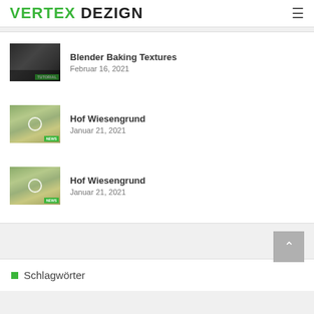Vertex Dezign
Blender Baking Textures
Februar 16, 2021
Hof Wiesengrund
Januar 21, 2021
Hof Wiesengrund
Januar 21, 2021
Schlagwörter